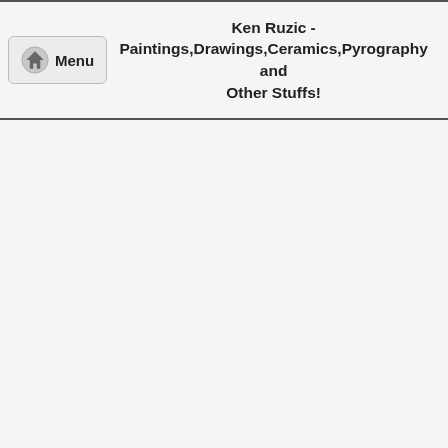Ken Ruzic - Paintings,Drawings,Ceramics,Pyrography and Other Stuffs!